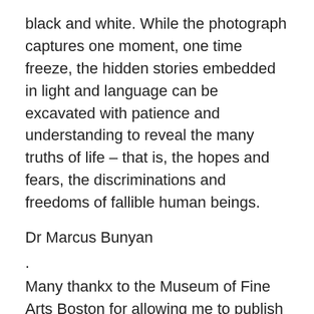black and white. While the photograph captures one moment, one time freeze, the hidden stories embedded in light and language can be excavated with patience and understanding to reveal the many truths of life – that is, the hopes and fears, the discriminations and freedoms of fallible human beings.
Dr Marcus Bunyan
.
Many thankx to the Museum of Fine Arts Boston for allowing me to publish the photographs in the posting. Please click on the photographs for a larger version of the image.